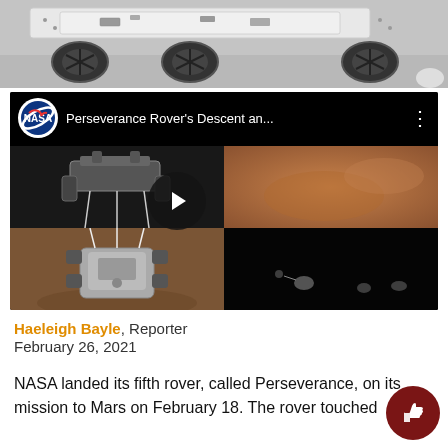[Figure (photo): Top portion of NASA Perseverance rover in a lab/facility, showing wheels and chassis, cropped from above]
[Figure (screenshot): YouTube-style video thumbnail for 'Perseverance Rover's Descent an...' by NASA, showing four-panel image composite of descent and landing footage with play button overlay]
Haeleigh Bayle, Reporter
February 26, 2021
NASA landed its fifth rover, called Perseverance, on its mission to Mars on February 18. The rover touched